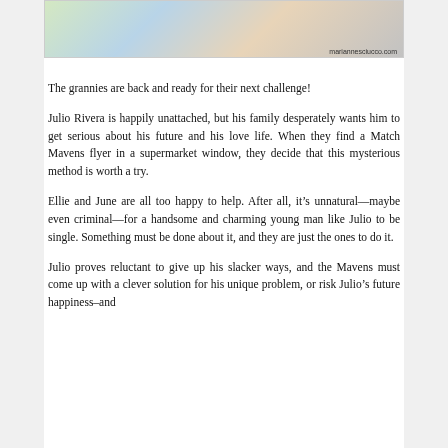[Figure (photo): Image showing tablets/devices with colorful cover art and books, watermark reads marianneSciucco.com]
The grannies are back and ready for their next challenge!
Julio Rivera is happily unattached, but his family desperately wants him to get serious about his future and his love life. When they find a Match Mavens flyer in a supermarket window, they decide that this mysterious method is worth a try.
Ellie and June are all too happy to help. After all, it’s unnatural—maybe even criminal—for a handsome and charming young man like Julio to be single. Something must be done about it, and they are just the ones to do it.
Julio proves reluctant to give up his slacker ways, and the Mavens must come up with a clever solution for his unique problem, or risk Julio’s future happiness–and